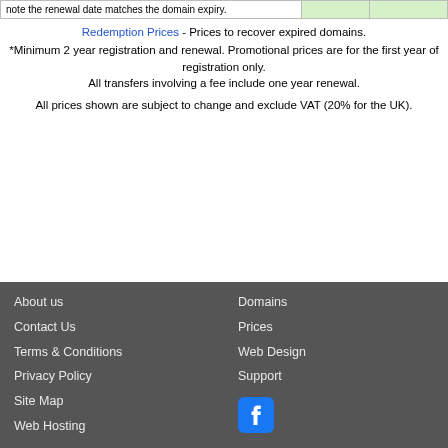| note the renewal date matches the domain expiry. |  |  |
Redemption Prices - Prices to recover expired domains.
*Minimum 2 year registration and renewal. Promotional prices are for the first year of registration only.
All transfers involving a fee include one year renewal.
All prices shown are subject to change and exclude VAT (20% for the UK).
About us | Contact Us | Terms & Conditions | Privacy Policy | Site Map | Web Hosting | Domains | Prices | Web Design | Support